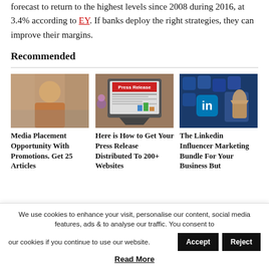...there is hope for the industry, with net mortgage lending forecast to return to the highest levels since 2008 during 2016, at 3.4% according to EY. If banks deploy the right strategies, they can improve their margins.
Recommended
[Figure (photo): Woman smiling at a restaurant or social gathering]
[Figure (photo): Tablet displaying a press release document]
[Figure (photo): Person pointing at LinkedIn and social media icons]
Media Placement Opportunity With Promotions. Get 25 Articles
Here is How to Get Your Press Release Distributed To 200+ Websites
The Linkedin Influencer Marketing Bundle For Your Business But
We use cookies to enhance your visit, personalise our content, social media features, ads & to analyse our traffic. You consent to our cookies if you continue to use our website.
Read More